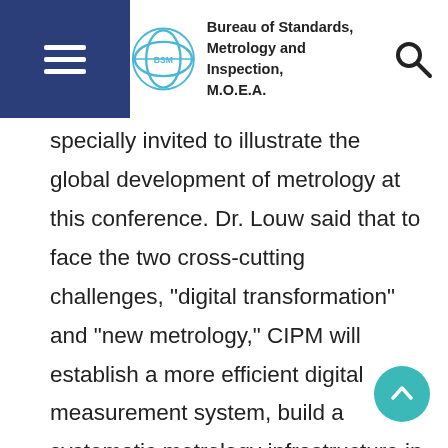Bureau of Standards, Metrology and Inspection, M.O.E.A.
specially invited to illustrate the global development of metrology at this conference. Dr. Louw said that to face the two cross-cutting challenges, "digital transformation" and "new metrology," CIPM will establish a more efficient digital measurement system, build a systematic metrology infrastructure in consideration of more uncertainty factors and enhance decision making ability. International experts, such as Dr. Takashi Usuda, Secretary of the CIPM, Dr.Tsan-Lin Chen, SVP of HIWIN MIKROSYSTEM Corp., and Dr.Yen-Haw Chen, Director of Research Division 1 of the Taiwan Institute of Economic Research, were invited as keynote speakers to deliver novel topics of